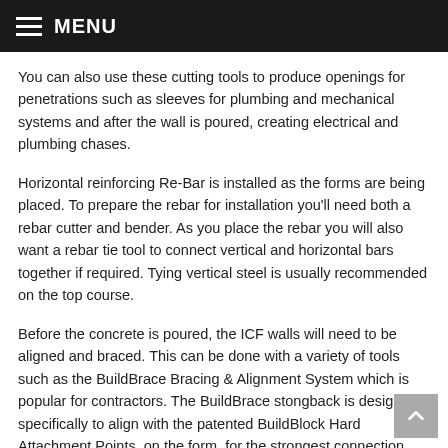MENU
You can also use these cutting tools to produce openings for penetrations such as sleeves for plumbing and mechanical systems and after the wall is poured, creating electrical and plumbing chases.
Horizontal reinforcing Re-Bar is installed as the forms are being placed. To prepare the rebar for installation you'll need both a rebar cutter and bender. As you place the rebar you will also want a rebar tie tool to connect vertical and horizontal bars together if required. Tying vertical steel is usually recommended on the top course.
Before the concrete is poured, the ICF walls will need to be aligned and braced. This can be done with a variety of tools such as the BuildBrace Bracing & Alignment System which is popular for contractors. The BuildBrace stongback is designed specifically to align with the patented BuildBlock Hard Attachment Points, on the form, for the strongest connection